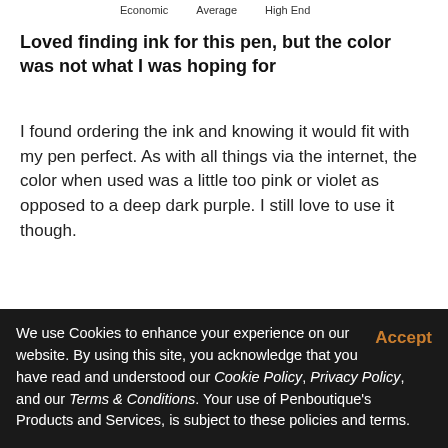Economic   Average   High End
Loved finding ink for this pen, but the color was not what I was hoping for
I found ordering the ink and knowing it would fit with my pen perfect. As with all things via the internet, the color when used was a little too pink or violet as opposed to a deep dark purple. I still love to use it though.
Share   Was this helpful?  👍 0  👎 0
Elizabeth   Verified Buyer   09/27/2021
We use Cookies to enhance your experience on our website. By using this site, you acknowledge that you have read and understood our Cookie Policy, Privacy Policy, and our Terms & Conditions. Your use of Penboutique's Products and Services, is subject to these policies and terms.